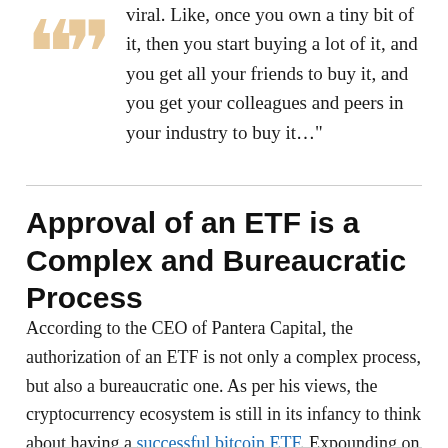viral. Like, once you own a tiny bit of it, then you start buying a lot of it, and you get all your friends to buy it, and you get your colleagues and peers in your industry to buy it…"
Approval of an ETF is a Complex and Bureaucratic Process
According to the CEO of Pantera Capital, the authorization of an ETF is not only a complex process, but also a bureaucratic one. As per his views, the cryptocurrency ecosystem is still in its infancy to think about having a successful bitcoin ETF. Expounding on this, Morehead said that: